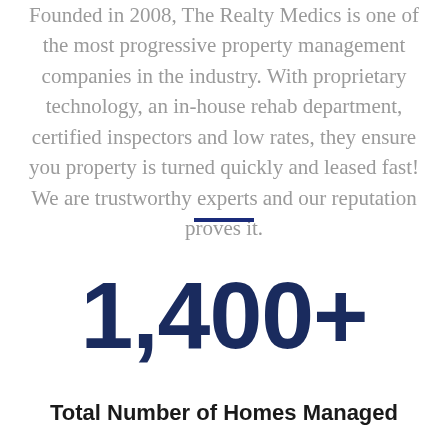Founded in 2008, The Realty Medics is one of the most progressive property management companies in the industry. With proprietary technology, an in-house rehab department, certified inspectors and low rates, they ensure you property is turned quickly and leased fast! We are trustworthy experts and our reputation proves it.
[Figure (other): A short dark blue horizontal divider line]
1,400+
Total Number of Homes Managed